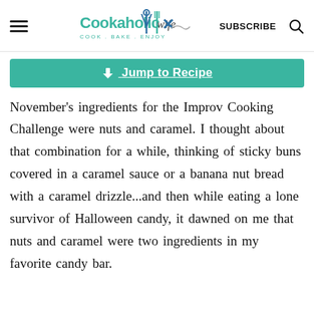Cookaholic Wife — COOK . BAKE . ENJOY | SUBSCRIBE
Jump to Recipe
November's ingredients for the Improv Cooking Challenge were nuts and caramel. I thought about that combination for a while, thinking of sticky buns covered in a caramel sauce or a banana nut bread with a caramel drizzle...and then while eating a lone survivor of Halloween candy, it dawned on me that nuts and caramel were two ingredients in my favorite candy bar.